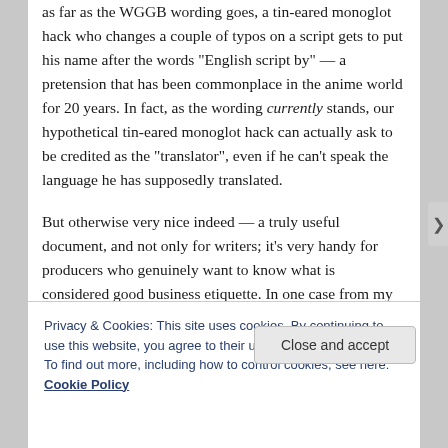as far as the WGGB wording goes, a tin-eared monoglot hack who changes a couple of typos on a script gets to put his name after the words "English script by" — a pretension that has been commonplace in the anime world for 20 years. In fact, as the wording currently stands, our hypothetical tin-eared monoglot hack can actually ask to be credited as the "translator", even if he can't speak the language he has supposedly translated.
But otherwise very nice indeed — a truly useful document, and not only for writers; it's very handy for producers who genuinely want to know what is considered good business etiquette. In one case from my past, it would have saved me from the embarrassing situation in which I would have been considered in breach of contract if I didn't hand in a
Privacy & Cookies: This site uses cookies. By continuing to use this website, you agree to their use.
To find out more, including how to control cookies, see here: Cookie Policy
Close and accept